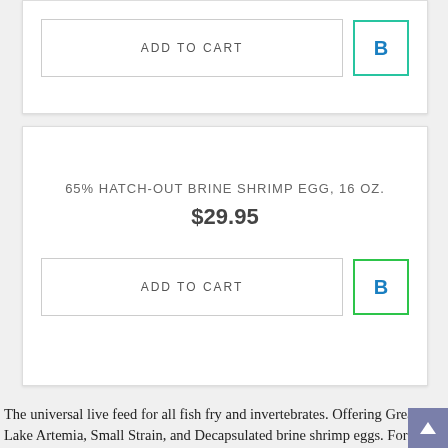ADD TO CART
65% HATCH-OUT BRINE SHRIMP EGG, 16 OZ.
$29.95
ADD TO CART
The universal live feed for all fish fry and invertebrates. Offering Great Salt Lake Artemia, Small Strain, and Decapsulated brine shrimp eggs. For most recent harvest information, click HERE. Due to an increase in